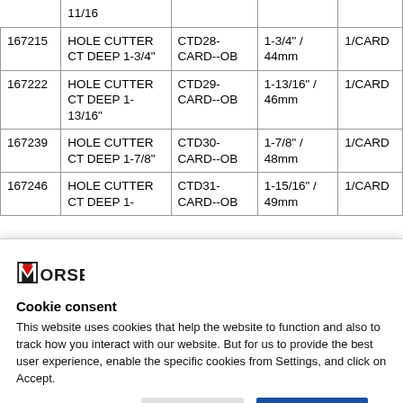|  | 11/16 |  |  |  |
| 167215 | HOLE CUTTER CT DEEP 1-3/4" | CTD28-CARD--OB | 1-3/4" / 44mm | 1/CARD |
| 167222 | HOLE CUTTER CT DEEP 1-13/16" | CTD29-CARD--OB | 1-13/16" / 46mm | 1/CARD |
| 167239 | HOLE CUTTER CT DEEP 1-7/8" | CTD30-CARD--OB | 1-7/8" / 48mm | 1/CARD |
| 167246 | HOLE CUTTER CT DEEP 1- | CTD31-CARD--OB | 1-15/16" / 49mm | 1/CARD |
[Figure (logo): Morse brand logo with red triangular checkmark and bold text MORSE]
Cookie consent
This website uses cookies that help the website to function and also to track how you interact with our website. But for us to provide the best user experience, enable the specific cookies from Settings, and click on Accept.